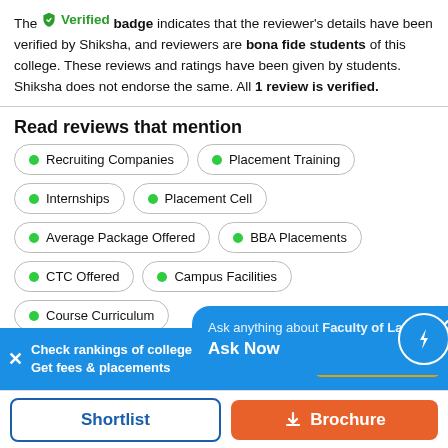The ✓ Verified badge indicates that the reviewer's details have been verified by Shiksha, and reviewers are bona fide students of this college. These reviews and ratings have been given by students. Shiksha does not endorse the same. All 1 review is verified.
Read reviews that mention
Recruiting Companies
Placement Training
Internships
Placement Cell
Average Package Offered
BBA Placements
CTC Offered
Course Curriculum
[Figure (screenshot): Chat popup: Ask anything about Faculty of Law, ... Ask Now with lightning bolt icon]
Check rankings of colleges by course. Get fees & placements
Shortlist | Brochure